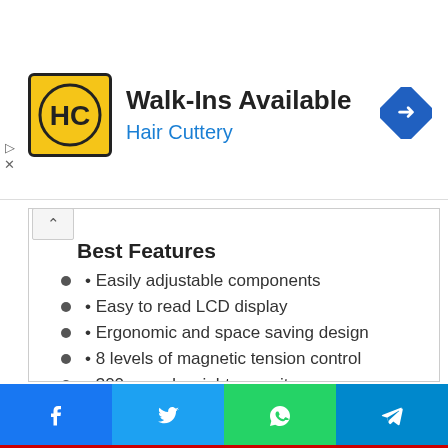[Figure (logo): Hair Cuttery advertisement banner with HC logo, 'Walk-Ins Available' text, 'Hair Cuttery' subtitle in blue, and a blue navigation arrow icon]
Best Features
• Easily adjustable components
• Easy to read LCD display
• Ergonomic and space saving design
• 8 levels of magnetic tension control
• 300 pound weight capacity
• Compact and silent operation
[Figure (infographic): Social share bar with Facebook, Twitter, WhatsApp, and Telegram buttons]